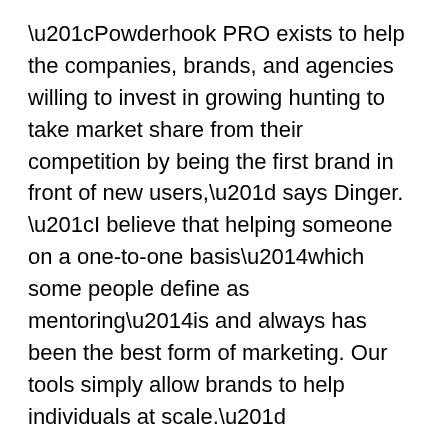“Powderhook PRO exists to help the companies, brands, and agencies willing to invest in growing hunting to take market share from their competition by being the first brand in front of new users,” says Dinger. “I believe that helping someone on a one-to-one basis—which some people define as mentoring—is and always has been the best form of marketing. Our tools simply allow brands to help individuals at scale.”
The Powderhook app is available to download or update by visiting the App Store or Google Play.
About Powderhook:
Powderhook promises to help people get outdoors more often and is committed to creating 3 million